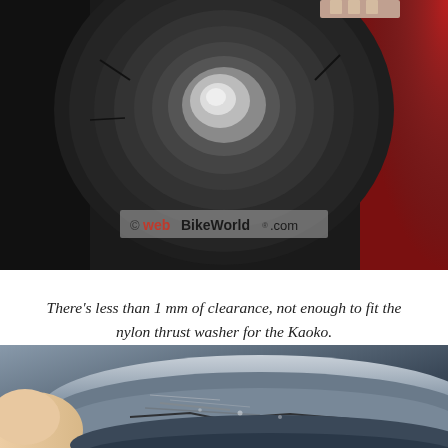[Figure (photo): Close-up photo of a motorcycle throttle body/bearing showing less than 1mm clearance. The webBikeWorld.com watermark is overlaid on the image.]
There's less than 1 mm of clearance, not enough to fit the nylon thrust washer for the Kaoko.
[Figure (photo): Close-up photo of a motorcycle component (throttle/grip area) showing scratched metal surface with cracks. A partial webBikeWorld watermark and an X close button are visible at the bottom.]